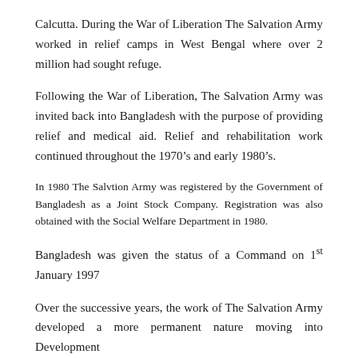Calcutta. During the War of Liberation The Salvation Army worked in relief camps in West Bengal where over 2 million had sought refuge.
Following the War of Liberation, The Salvation Army was invited back into Bangladesh with the purpose of providing relief and medical aid. Relief and rehabilitation work continued throughout the 1970’s and early 1980’s.
In 1980 The Salvtion Army was registered by the Government of Bangladesh as a Joint Stock Company. Registration was also obtained with the Social Welfare Department in 1980.
Bangladesh was given the status of a Command on 1st January 1997
Over the successive years, the work of The Salvation Army developed a more permanent nature moving into Development